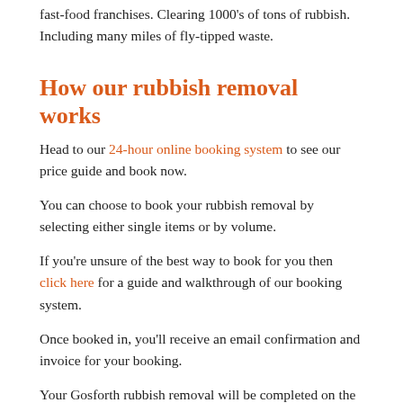fast-food franchises. Clearing 1000's of tons of rubbish. Including many miles of fly-tipped waste.
How our rubbish removal works
Head to our 24-hour online booking system to see our price guide and book now.
You can choose to book your rubbish removal by selecting either single items or by volume.
If you're unsure of the best way to book for you then click here for a guide and walkthrough of our booking system.
Once booked in, you'll receive an email confirmation and invoice for your booking.
Your Gosforth rubbish removal will be completed on the date and time you specified.